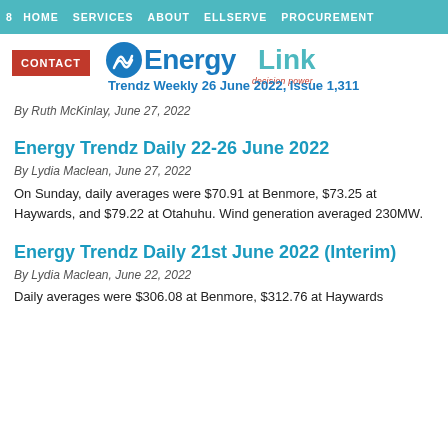8 HOME   SERVICES   ABOUT   ELLSERVE   PROCUREMENT
[Figure (logo): Energy Link logo with teal wave icon, 'Energy Link' text, 'decision power' tagline, CONTACT button, and issue line 'Trendz Weekly 26 June 2022, Issue 1,311']
By Ruth McKinlay, June 27, 2022
Energy Trendz Daily 22-26 June 2022
By Lydia Maclean, June 27, 2022
On Sunday, daily averages were $70.91 at Benmore, $73.25 at Haywards, and $79.22 at Otahuhu. Wind generation averaged 230MW.
Energy Trendz Daily 21st June 2022 (Interim)
By Lydia Maclean, June 22, 2022
Daily averages were $306.08 at Benmore, $312.76 at Haywards...